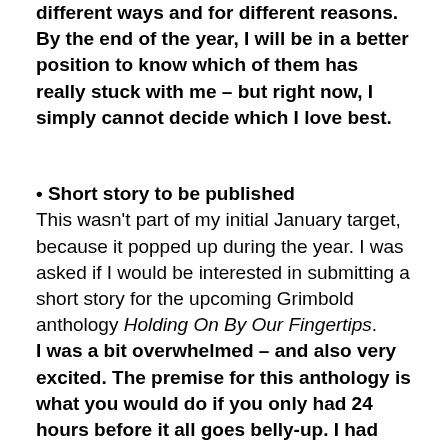different ways and for different reasons. By the end of the year, I will be in a better position to know which of them has really stuck with me – but right now, I simply cannot decide which I love best.
• Short story to be published
This wasn't part of my initial January target, because it popped up during the year. I was asked if I would be interested in submitting a short story for the upcoming Grimbold anthology Holding On By Our Fingertips. I was a bit overwhelmed – and also very excited. The premise for this anthology is what you would do if you only had 24 hours before it all goes belly-up. I had several false starts before submitting a story entitled 'A Dire Emergency'. And I had the news in the middle